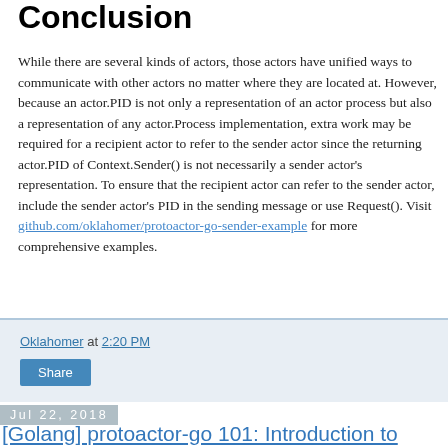Conclusion
While there are several kinds of actors, those actors have unified ways to communicate with other actors no matter where they are located at. However, because an actor.PID is not only a representation of an actor process but also a representation of any actor.Process implementation, extra work may be required for a recipient actor to refer to the sender actor since the returning actor.PID of Context.Sender() is not necessarily a sender actor's representation. To ensure that the recipient actor can refer to the sender actor, include the sender actor's PID in the sending message or use Request(). Visit github.com/oklahomer/protoactor-go-sender-example for more comprehensive examples.
Oklahomer at 2:20 PM
Share
Jul 22, 2018
[Golang] protoactor-go 101: Introduction to golang's actor model implementation